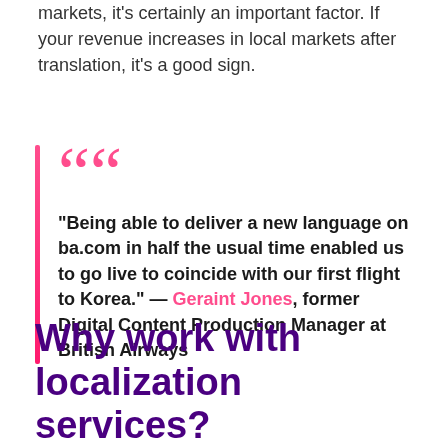markets, it's certainly an important factor. If your revenue increases in local markets after translation, it's a good sign.
“Being able to deliver a new language on ba.com in half the usual time enabled us to go live to coincide with our first flight to Korea.” — Geraint Jones, former Digital Content Production Manager at British Airways
Why work with localization services?